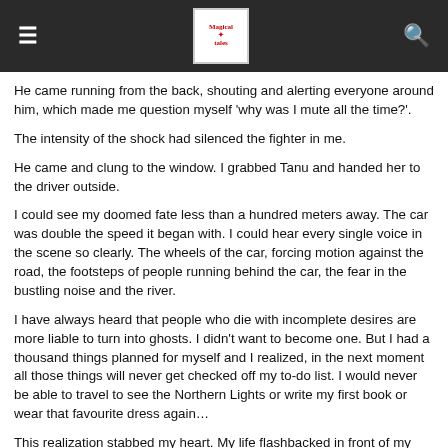≡  [logo]  🔍
He came running from the back, shouting and alerting everyone around him, which made me question myself 'why was I mute all the time?'.
The intensity of the shock had silenced the fighter in me.
He came and clung to the window. I grabbed Tanu and handed her to the driver outside.
I could see my doomed fate less than a hundred meters away. The car was double the speed it began with. I could hear every single voice in the scene so clearly. The wheels of the car, forcing motion against the road, the footsteps of people running behind the car, the fear in the bustling noise and the river.
I have always heard that people who die with incomplete desires are more liable to turn into ghosts. I didn't want to become one. But I had a thousand things planned for myself and I realized, in the next moment all those things will never get checked off my to-do list. I would never be able to travel to see the Northern Lights or write my first book or wear that favourite dress again…
This realization stabbed my heart. My life flashbacked in front of my eyes. I was drugged by the seductiveness of all my good memories returning to me. I felt my body becoming as light as a feather… I was ready to greet the dark silence after the crash. The peace in it was captivating me and I gave in.